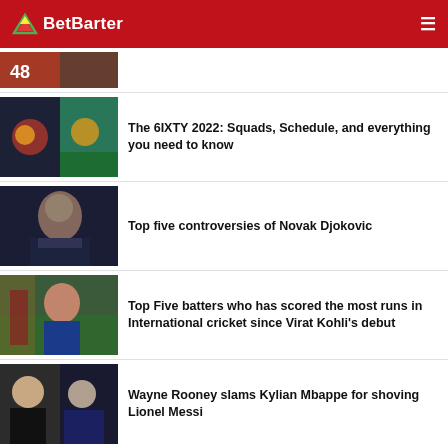BetBarter
[Figure (photo): Partially visible cricket photo with number 48]
The 6IXTY 2022: Squads, Schedule, and everything you need to know
[Figure (photo): Cricket teams photo]
Top five controversies of Novak Djokovic
[Figure (photo): Novak Djokovic photo]
Top Five batters who has scored the most runs in International cricket since Virat Kohli's debut
[Figure (photo): Cricket batter photo]
Wayne Rooney slams Kylian Mbappe for shoving Lionel Messi
[Figure (photo): Wayne Rooney and footballer photo]